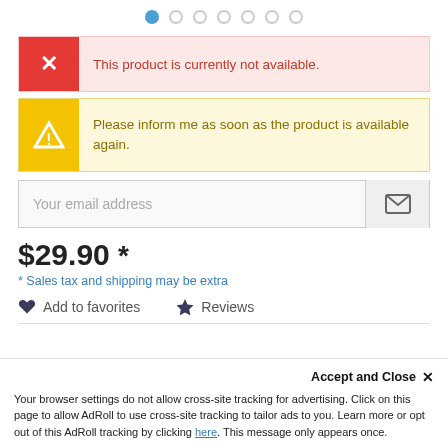[Figure (other): Pagination dots navigation, first dot filled blue, others empty circles]
This product is currently not available.
Please inform me as soon as the product is available again.
Your email address
$29.90 *
* Sales tax and shipping may be extra
Add to favorites
Reviews
Accept and Close ✕
Your browser settings do not allow cross-site tracking for advertising. Click on this page to allow AdRoll to use cross-site tracking to tailor ads to you. Learn more or opt out of this AdRoll tracking by clicking here. This message only appears once.